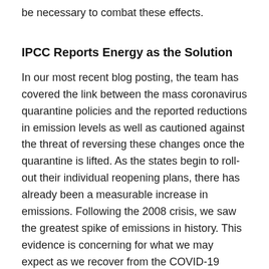be necessary to combat these effects.
IPCC Reports Energy as the Solution
In our most recent blog posting, the team has covered the link between the mass coronavirus quarantine policies and the reported reductions in emission levels as well as cautioned against the threat of reversing these changes once the quarantine is lifted. As the states begin to roll-out their individual reopening plans, there has already been a measurable increase in emissions. Following the 2008 crisis, we saw the greatest spike of emissions in history. This evidence is concerning for what we may expect as we recover from the COVID-19 pandemic.
The Intergovernmental Panel on Climate Change reported renewable energy as the “heart of the solution to climate change”, as energy accounts for two-thirds of the global